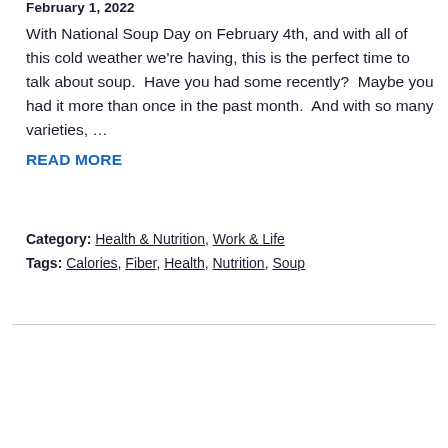February 1, 2022
With National Soup Day on February 4th, and with all of this cold weather we're having, this is the perfect time to talk about soup.  Have you had some recently?  Maybe you had it more than once in the past month.  And with so many varieties, …
READ MORE
Category: Health & Nutrition, Work & Life
Tags: Calories, Fiber, Health, Nutrition, Soup